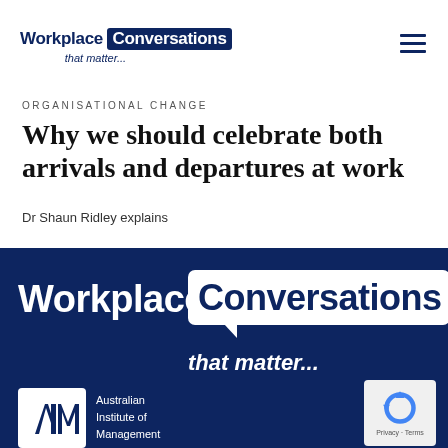Workplace Conversations that matter...
ORGANISATIONAL CHANGE
Why we should celebrate both arrivals and departures at work
Dr Shaun Ridley explains
[Figure (logo): Workplace Conversations that matter... logo on dark blue background with Australian Institute of Management branding]